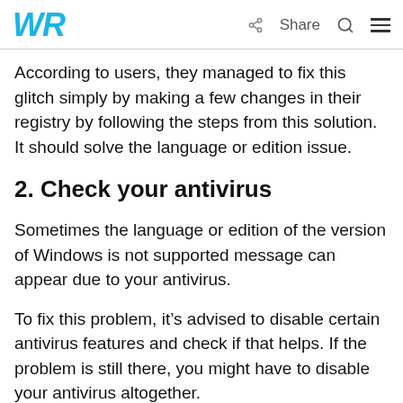WR | Share [search] [menu]
According to users, they managed to fix this glitch simply by making a few changes in their registry by following the steps from this solution. It should solve the language or edition issue.
2. Check your antivirus
Sometimes the language or edition of the version of Windows is not supported message can appear due to your antivirus.
To fix this problem, it’s advised to disable certain antivirus features and check if that helps. If the problem is still there, you might have to disable your antivirus altogether.
Disabling the antivirus usually fixes this problem.